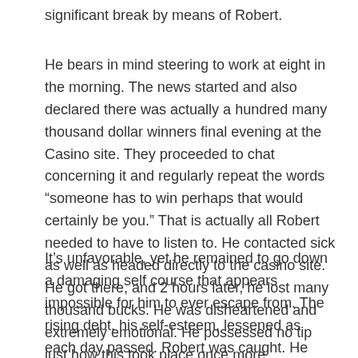significant break by means of Robert.
He bears in mind steering to work at eight in the morning. The news started and also declared there was actually a hundred many thousand dollar winners final evening at the Casino site. They proceeded to chat concerning it and regularly repeat the words “someone has to win perhaps that would certainly be you.” That is actually all Robert needed to have to listen to. He contacted sick as well as headed directly to the casino site. He got there, and 2 hours later, he lost many thousand bucks. He was disheartened and extremely emotional. He possessed no tip just how this took place once more.
It’s unfavorable, yet he remained to go down a damaging self course that appears impossible for him to ever escape from. The rising debt, his self-esteem, lessened as each day passed. Robert was caught. He recognizes wagering is no good for him.